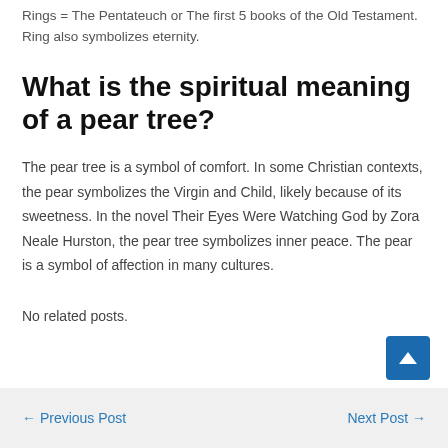Rings = The Pentateuch or The first 5 books of the Old Testament. Ring also symbolizes eternity.
What is the spiritual meaning of a pear tree?
The pear tree is a symbol of comfort. In some Christian contexts, the pear symbolizes the Virgin and Child, likely because of its sweetness. In the novel Their Eyes Were Watching God by Zora Neale Hurston, the pear tree symbolizes inner peace. The pear is a symbol of affection in many cultures.
No related posts.
← Previous Post   Next Post →